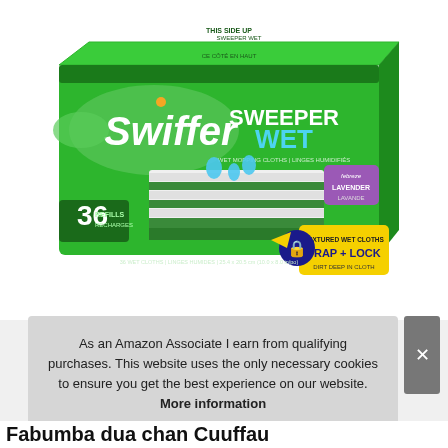[Figure (photo): Swiffer Sweeper Wet 36 Refills box with Febreze Lavender scent, green packaging showing wet mopping cloths with TRAP + LOCK branding]
As an Amazon Associate I earn from qualifying purchases. This website uses the only necessary cookies to ensure you get the best experience on our website. More information
Fabumba dua chan Cuuffau